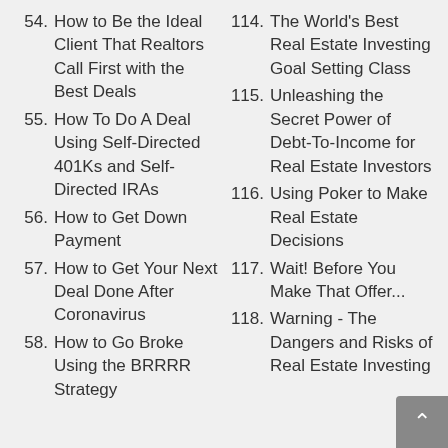54. How to Be the Ideal Client That Realtors Call First with the Best Deals
55. How To Do A Deal Using Self-Directed 401Ks and Self-Directed IRAs
56. How to Get Down Payment
57. How to Get Your Next Deal Done After Coronavirus
58. How to Go Broke Using the BRRRR Strategy
114. The World's Best Real Estate Investing Goal Setting Class
115. Unleashing the Secret Power of Debt-To-Income for Real Estate Investors
116. Using Poker to Make Real Estate Decisions
117. Wait! Before You Make That Offer...
118. Warning - The Dangers and Risks of Real Estate Investing